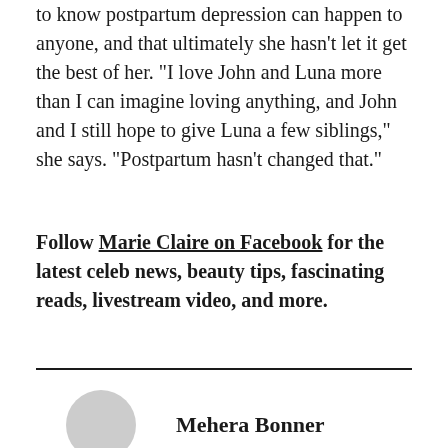to know postpartum depression can happen to anyone, and that ultimately she hasn't let it get the best of her. "I love John and Luna more than I can imagine loving anything, and John and I still hope to give Luna a few siblings," she says. "Postpartum hasn't changed that."
Follow Marie Claire on Facebook for the latest celeb news, beauty tips, fascinating reads, livestream video, and more.
Mehera Bonner